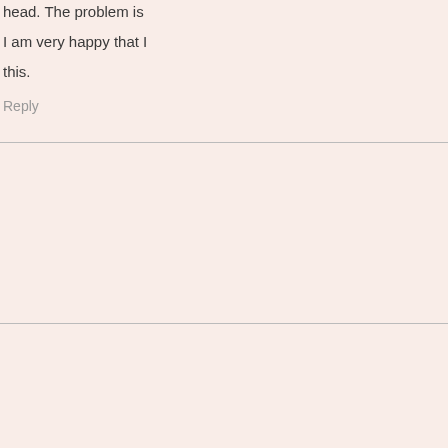head. The problem is
I am very happy that I
this.
Reply
loa vali kéo says:
January 5, 2018 at 5:5
It as not that I want to
style are you using? C
Reply
for more details says:
January 5, 2018 at 5:5
Thank you ever so for